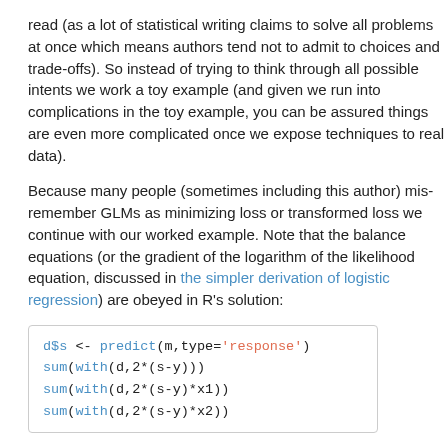read (as a lot of statistical writing claims to solve all problems at once which means authors tend not to admit to choices and trade-offs). So instead of trying to think through all possible intents we work a toy example (and given we run into complications in the toy example, you can be assured things are even more complicated once we expose techniques to real data).
Because many people (sometimes including this author) mis-remember GLMs as minimizing loss or transformed loss we continue with our worked example. Note that the balance equations (or the gradient of the logarithm of the likelihood equation, discussed in the simpler derivation of logistic regression) are obeyed in R's solution:
d$s <- predict(m,type='response')
sum(with(d,2*(s-y)))
sum(with(d,2*(s-y)*x1))
sum(with(d,2*(s-y)*x2))
gives us:
[1] -1.050271e-12
[1] -1.173884e-12
[1] -7.624248e-13
all very near zero (as expected).